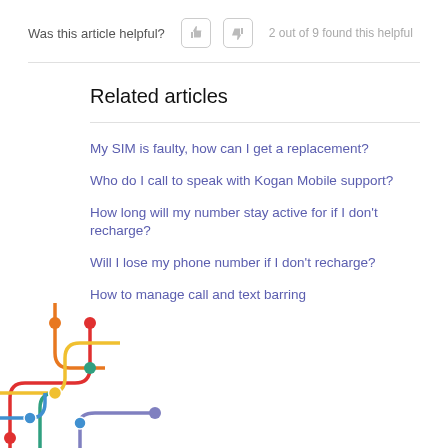Was this article helpful?  2 out of 9 found this helpful
Related articles
My SIM is faulty, how can I get a replacement?
Who do I call to speak with Kogan Mobile support?
How long will my number stay active for if I don't recharge?
Will I lose my phone number if I don't recharge?
How to manage call and text barring
[Figure (illustration): Decorative metro/transit map network diagram with colored lines (red, orange, yellow, teal, blue, purple) and dots/nodes at corners and junctions, partially visible in the bottom-left corner.]